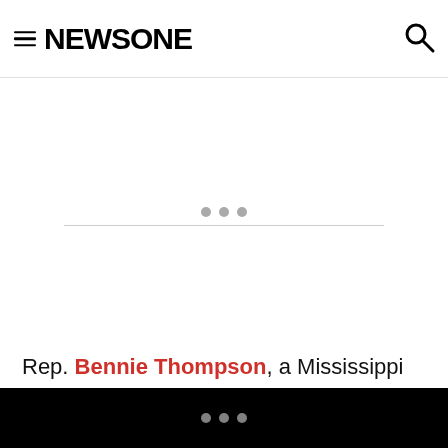NEWSONE
[Figure (other): Advertisement placeholder with three dots and a horizontal divider line]
Rep. Bennie Thompson, a Mississippi Democrat, responded Wednesday to that tweet.